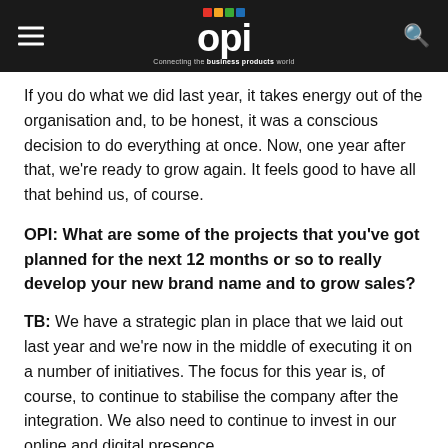OPI — Connecting the business products world
If you do what we did last year, it takes energy out of the organisation and, to be honest, it was a conscious decision to do everything at once. Now, one year after that, we're ready to grow again. It feels good to have all that behind us, of course.
OPI: What are some of the projects that you've got planned for the next 12 months or so to really develop your new brand name and to grow sales?
TB: We have a strategic plan in place that we laid out last year and we're now in the middle of executing it on a number of initiatives. The focus for this year is, of course, to continue to stabilise the company after the integration. We also need to continue to invest in our online and digital presence.
I think we have a job to do in our channel strategy to make sure we achieve the most cost-efficient penetration for each customer segment – that's an important thing for us in our multichannel